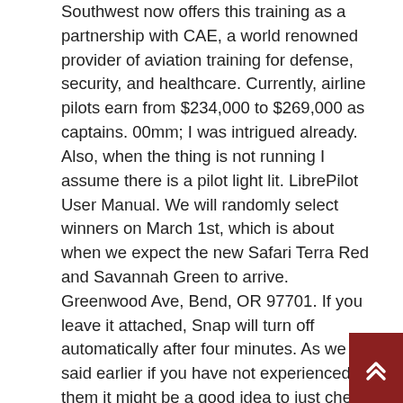Southwest now offers this training as a partnership with CAE, a world renowned provider of aviation training for defense, security, and healthcare. Currently, airline pilots earn from $234,000 to $269,000 as captains. 00mm; I was intrigued already. Also, when the thing is not running I assume there is a pilot light lit. LibrePilot User Manual. We will randomly select winners on March 1st, which is about when we expect the new Safari Terra Red and Savannah Green to arrive. Greenwood Ave, Bend, OR 97701. If you leave it attached, Snap will turn off automatically after four minutes. As we said earlier if you have not experienced them it might be a good idea to just check for any damage or telltale signs like small cracks in glass and dirt getting filled in drains. When system pressure overcomes force of the adjustable spring, the valve opens. Communication modules include USB2. The same goes for longitudinal control. The Pilot Metropolitan seems to have been around forever. Sudip Giri – January 2, 2020. In SFAP